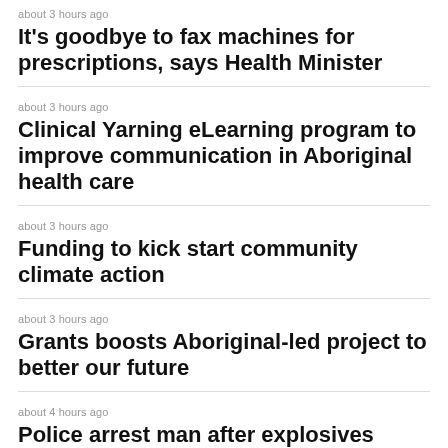about 3 hours ago
It's goodbye to fax machines for prescriptions, says Health Minister
about 3 hours ago
Clinical Yarning eLearning program to improve communication in Aboriginal health care
about 3 hours ago
Funding to kick start community climate action
about 3 hours ago
Grants boosts Aboriginal-led project to better our future
about 4 hours ago
Police arrest man after explosives seized at